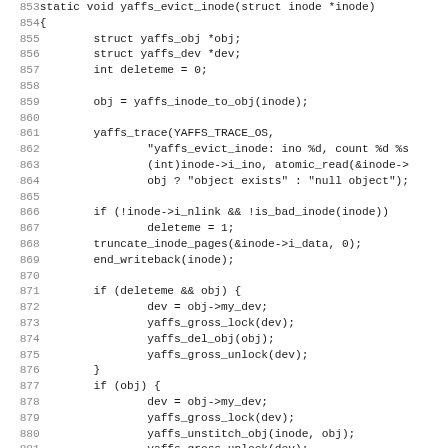[Figure (screenshot): Source code listing of yaffs_evict_inode function in C, lines 853-884, showing inode eviction logic with struct declarations, trace calls, conditional deleteme flag, truncate/writeback calls, and nested if blocks for device locking, object deletion, and unstitch operations.]